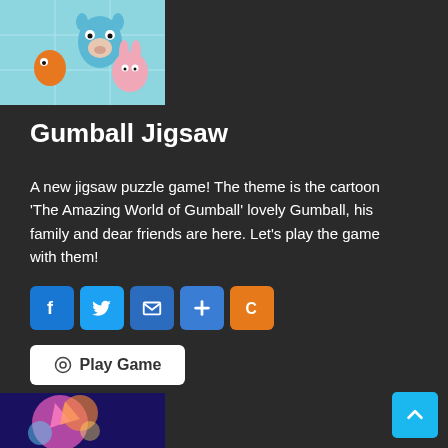[Figure (illustration): Screenshot from The Amazing World of Gumball cartoon showing characters including Gumball (blue cat), Darwin (orange fish), and Anais (pink bunny) in a tiled background setting]
Gumball Jigsaw
A new jigsaw puzzle game! The theme is the cartoon 'The Amazing World of Gumball' lovely Gumball, his family and dear friends are here. Let's play the game with them!
[Figure (infographic): Social sharing buttons row: Facebook (f), Twitter (bird), Mail (envelope), Plus (+), Copy (C)]
Play Game
[Figure (photo): Partially visible game thumbnail at the bottom of the page showing a colorful scene with a fairy or character on a blue/purple background]
[Figure (other): Scroll-to-top button (blue square with upward chevron arrow) in bottom-right corner]